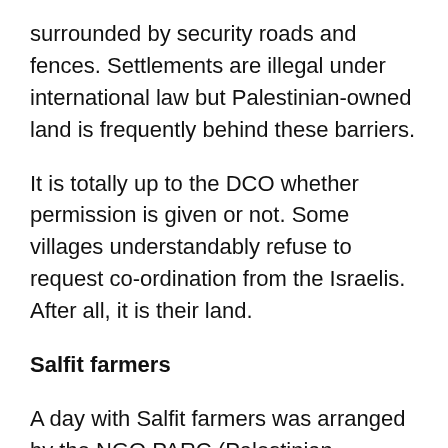surrounded by security roads and fences. Settlements are illegal under international law but Palestinian-owned land is frequently behind these barriers.
It is totally up to the DCO whether permission is given or not. Some villages understandably refuse to request co-ordination from the Israelis. After all, it is their land.
Salfit farmers
A day with Salfit farmers was arranged by the NGO PARC (Palestinian Agricultural Development Association) which is funded by the EU.
Salfit farmers like many in the West Bank...